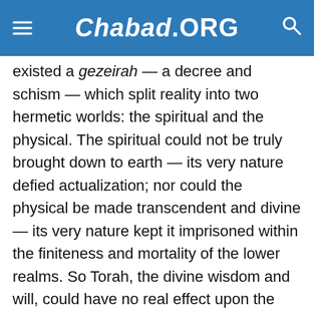Chabad.ORG
existed a gezeirah — a decree and schism — which split reality into two hermetic worlds: the spiritual and the physical. The spiritual could not be truly brought down to earth — its very nature defied actualization; nor could the physical be made transcendent and divine — its very nature kept it imprisoned within the finiteness and mortality of the lower realms. So Torah, the divine wisdom and will, could have no real effect upon the physical world. It was a wholly spiritual manifesto, pertaining to the soul of man and to the spiritual reality of the heavens. While its concepts could, and were, applied to physical life, physical life could not be elevated - it could be improved and